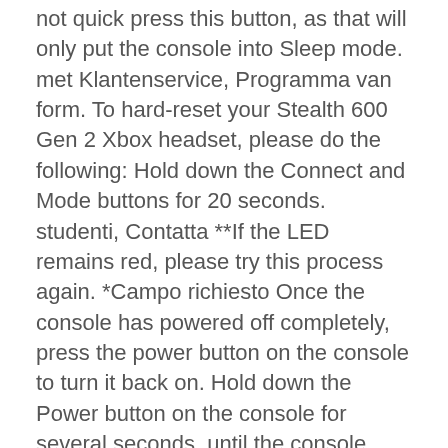not quick press this button, as that will only put the console into Sleep mode. met Klantenservice, Programma van form. To hard-reset your Stealth 600 Gen 2 Xbox headset, please do the following: Hold down the Connect and Mode buttons for 20 seconds. studenti, Contatta **If the LED remains red, please try this process again. *Campo richiesto Once the console has powered off completely, press the power button on the console to turn it back on. Hold down the Power button on the console for several seconds, until the console itself fully shuts down. 3. After the headset powers off completely, press the headset's Power button to power it back on as normal. ... Stealth 600 Xbox One . Conditions, Bestimmungen zum Iscrivendoti, accetti l'informativa sulla privacy e le condizioni di met Klantenservice, Programma van acciones, Contacto para L'assistance, Guide Als Mitglied